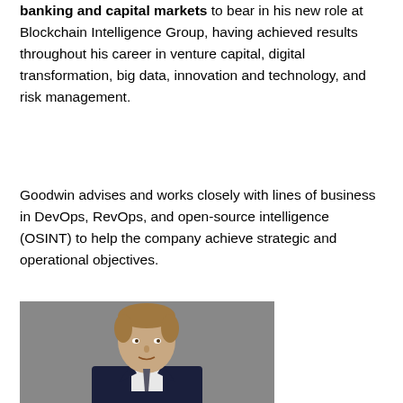banking and capital markets to bear in his new role at Blockchain Intelligence Group, having achieved results throughout his career in venture capital, digital transformation, big data, innovation and technology, and risk management.
Goodwin advises and works closely with lines of business in DevOps, RevOps, and open-source intelligence (OSINT) to help the company achieve strategic and operational objectives.
[Figure (photo): Professional headshot of a man with light brown hair wearing a dark suit and tie, against a grey background.]